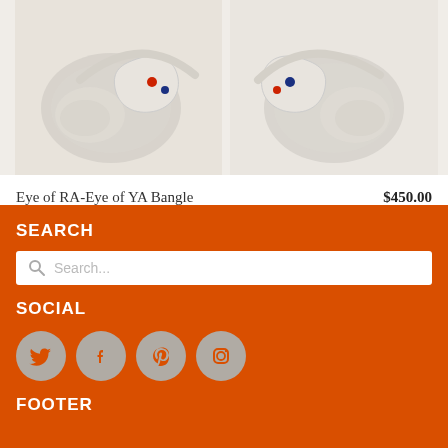[Figure (photo): Two silver bangles featuring eagle/phoenix head designs with red and blue gemstone eyes, photographed against a white background]
Eye of RA-Eye of YA Bangle    $450.00
SEARCH
Search...
SOCIAL
[Figure (infographic): Four social media icons: Twitter, Facebook, Pinterest, Instagram displayed as gray circles on orange background]
FOOTER